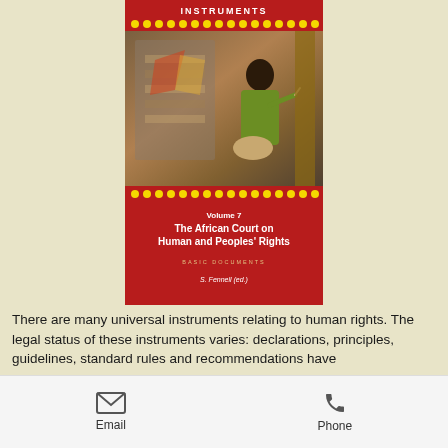[Figure (illustration): Book cover for 'Volume 7 The African Court on Human and Peoples' Rights – Basic Documents' edited by S. Fennell, published in the International Instruments series. Red cover with yellow dot borders and a photo of a child sitting outdoors.]
There are many universal instruments relating to human rights. The legal status of these instruments varies: declarations, principles, guidelines, standard rules and recommendations have
Email   Phone